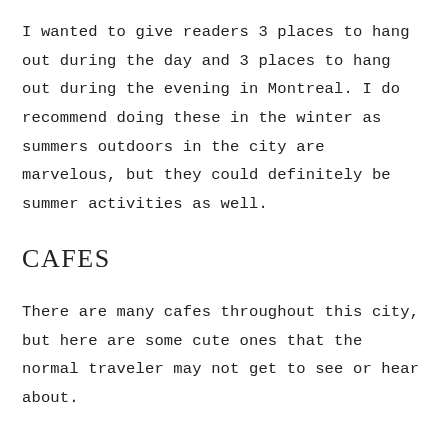I wanted to give readers 3 places to hang out during the day and 3 places to hang out during the evening in Montreal. I do recommend doing these in the winter as summers outdoors in the city are marvelous, but they could definitely be summer activities as well.
CAFES
There are many cafes throughout this city, but here are some cute ones that the normal traveler may not get to see or hear about.